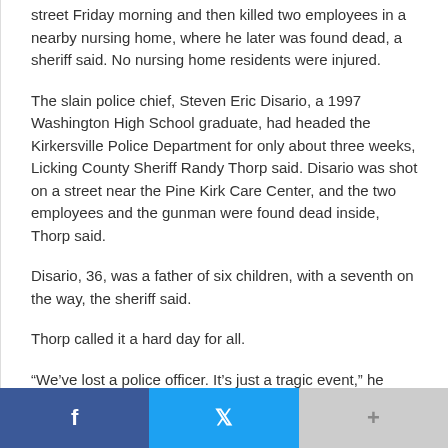street Friday morning and then killed two employees in a nearby nursing home, where he later was found dead, a sheriff said. No nursing home residents were injured.
The slain police chief, Steven Eric Disario, a 1997 Washington High School graduate, had headed the Kirkersville Police Department for only about three weeks, Licking County Sheriff Randy Thorp said. Disario was shot on a street near the Pine Kirk Care Center, and the two employees and the gunman were found dead inside, Thorp said.
Disario, 36, was a father of six children, with a seventh on the way, the sheriff said.
Thorp called it a hard day for all.
“We’ve lost a police officer. It’s just a tragic event,” he said. “I guess the only peace of mind is that the threat is over.”
[Figure (other): Social sharing bar with Facebook, Twitter, and a plus/more button]